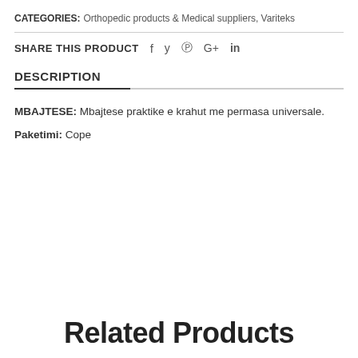CATEGORIES: Orthopedic products & Medical suppliers, Variteks
SHARE THIS PRODUCT   f   y   @   G+   in
DESCRIPTION
MBAJTESE: Mbajtese praktike e krahut me permasa universale.

Paketimi: Cope
Related Products